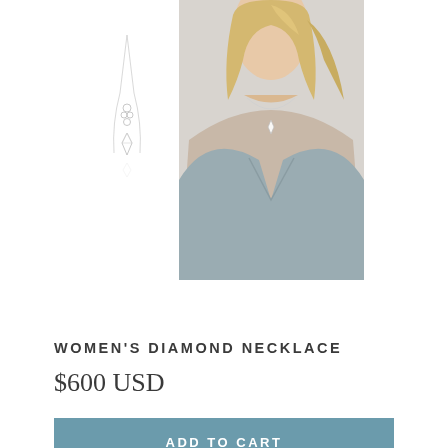[Figure (photo): Two product images side by side: left is a thin silver chain necklace with small diamond pendant on white background, right is a photo of a woman's neck/chest area wearing the same diamond necklace against a gray top]
WOMEN'S DIAMOND NECKLACE
$600 USD
ADD TO CART